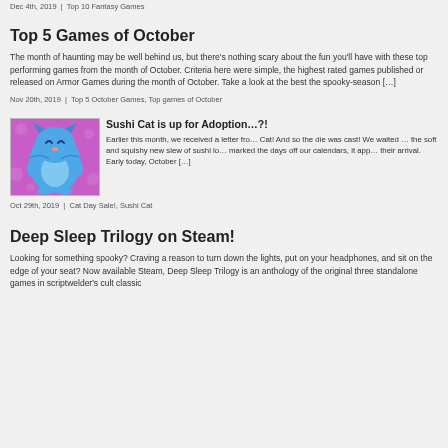Dec 4th, 2019  |  Top 10 Fantasy Games
Top 5 Games of October
The month of haunting may be well behind us, but there's nothing scary about the fun you'll have with these top performing games from the month of October. Criteria here were simple, the highest rated games published or released on Armor Games during the month of October. Take a look at the best the spooky-season […]
Nov 20th, 2019  |  Top 5 October Games, Top games of October
[Figure (illustration): Blue cartoon cat character (Sushi Cat) with a happy expression on a pink/purple background]
Sushi Cat is up for Adoption…?!
Earlier this month, we received a letter fro… Cat! And so the die was cast! We waited … the soft and squishy new slew of sushi lo… marked the days off our calendars, it app… their arrival. Early today, October […]
Oct 29th, 2019  |  Cat Day Sale!, Sushi Cat
Deep Sleep Trilogy on Steam!
Looking for something spooky? Craving a reason to turn down the lights, put on your headphones, and sit on the edge of your seat? Now available Steam, Deep Sleep Trilogy is an anthology of the original three standalone games in scriptwelder's cult classic